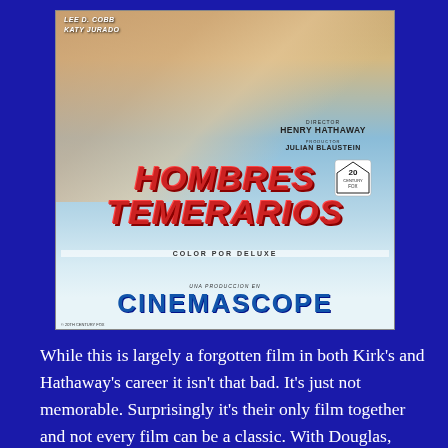[Figure (illustration): Spanish movie poster for 'Hombres Temerarios' (The Racers) featuring a woman and man in the upper portion, racing car silhouettes in the middle, text showing Director Henry Hathaway and Producer Julian Blaustein, 20th Century Fox logo, bold red title 'HOMBRES TEMERARIOS', 'COLOR POR DELUXE', and 'CINEMASCOPE' at the bottom. Credits at top mention Lee D. Cobb and Katy Jurado.]
While this is largely a forgotten film in both Kirk's and Hathaway's career it isn't that bad. It's just not memorable. Surprisingly it's their only film together and not every film can be a classic. With Douglas,